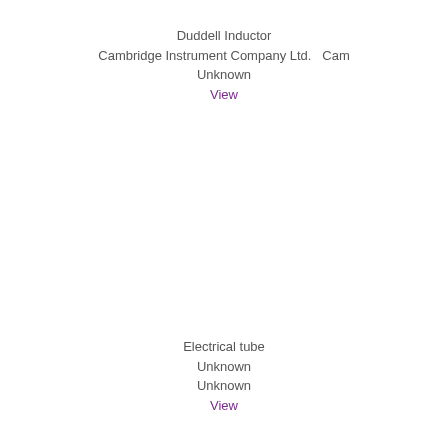Duddell Inductor
Cambridge Instrument Company Ltd.   Cam
Unknown
View
Electrical tube
Unknown
Unknown
View